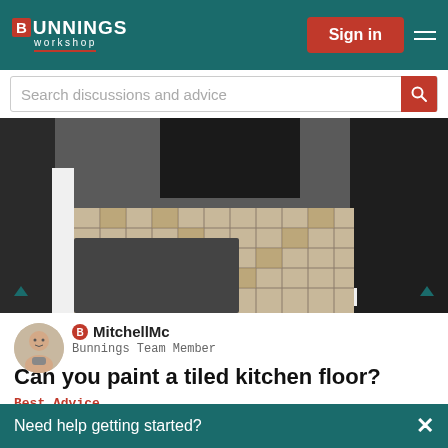Bunnings Workshop — Sign in
Search discussions and advice
[Figure (photo): Photo of a tiled kitchen floor with a dark doormat and white skirting boards]
MitchellMc — Bunnings Team Member
Can you paint a tiled kitchen floor?
Best Advice
October
Need help getting started?